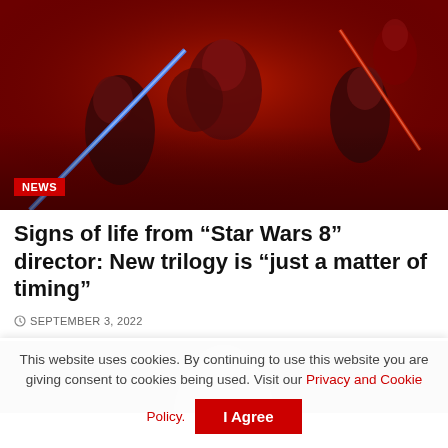[Figure (photo): Star Wars movie promotional poster with characters on a dark red background, featuring lightsabers and multiple characters including a woman in the center. A red 'NEWS' badge appears at the bottom left.]
Signs of life from “Star Wars 8” director: New trilogy is “just a matter of timing”
SEPTEMBER 3, 2022
[Figure (photo): Partial photo of a person, mostly grey/blurred, showing only the top of someone's head.]
This website uses cookies. By continuing to use this website you are giving consent to cookies being used. Visit our Privacy and Cookie Policy.
I Agree